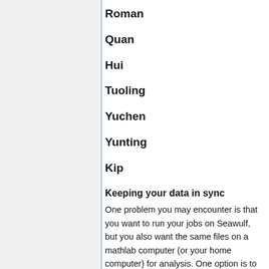Roman
Quan
Hui
Tuoling
Yuchen
Yunting
Kip
Keeping your data in sync
One problem you may encounter is that you want to run your jobs on Seawulf, but you also want the same files on a mathlab computer (or your home computer) for analysis. One option is to use RSYNC to keep your files on Seawulf and Harbie (or any mathlab